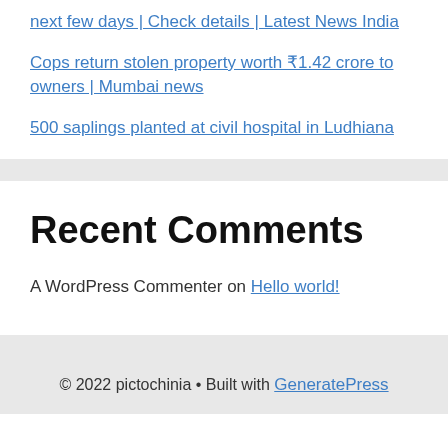next few days | Check details | Latest News India
Cops return stolen property worth ₹1.42 crore to owners | Mumbai news
500 saplings planted at civil hospital in Ludhiana
Recent Comments
A WordPress Commenter on Hello world!
© 2022 pictochinia • Built with GeneratePress